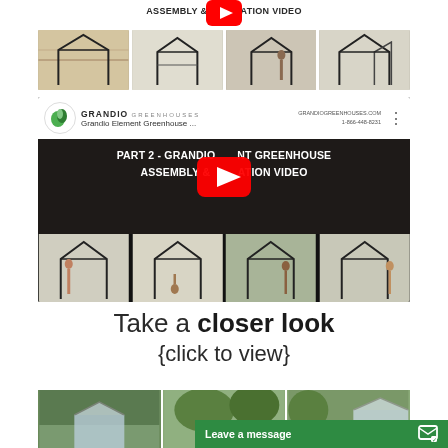[Figure (screenshot): Top YouTube video thumbnail for Part 1 Grandio Element Greenhouse Assembly & Installation Video, showing text 'ASSEMBLY & INSTALLATION VIDEO' with YouTube play button and four thumbnail images of greenhouse frame assembly steps]
[Figure (screenshot): Main embedded YouTube video player for 'PART 2 - GRANDIO ELEMENT GREENHOUSE ASSEMBLY & INSTALLATION VIDEO' with Grandio Greenhouses logo, website grandioGreenhouses.com, phone 1-866-448-8231, large YouTube play button, and four thumbnail images below showing greenhouse assembly with people]
Take a closer look {click to view}
[Figure (photo): Bottom row of three greenhouse photos partially visible, with a green 'Leave a message' chat bar overlay at bottom right]